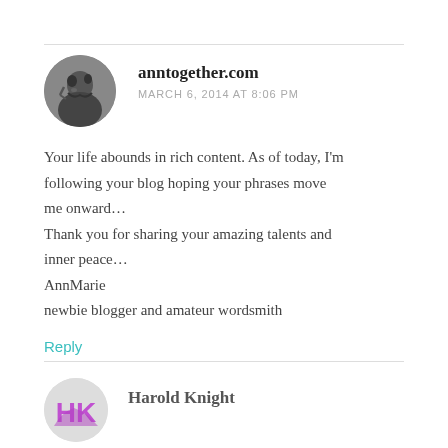anntogether.com
MARCH 6, 2014 AT 8:06 PM
Your life abounds in rich content. As of today, I'm following your blog hoping your phrases move me onward...
Thank you for sharing your amazing talents and inner peace...
AnnMarie
newbie blogger and amateur wordsmith
Reply
Harold Knight